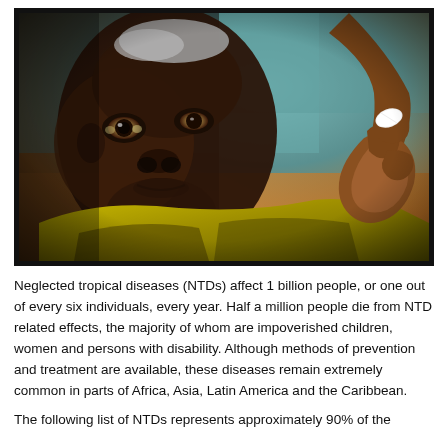[Figure (photo): Close-up photo of a young African child looking directly at the camera, holding up a white pill/tablet between their thumb and forefinger. The child is wearing a yellow shirt. The background is blurred with teal and orange tones. The photo has a thick black border.]
Neglected tropical diseases (NTDs) affect 1 billion people, or one out of every six individuals, every year. Half a million people die from NTD related effects, the majority of whom are impoverished children, women and persons with disability. Although methods of prevention and treatment are available, these diseases remain extremely common in parts of Africa, Asia, Latin America and the Caribbean.
The following list of NTDs represents approximately 90% of the